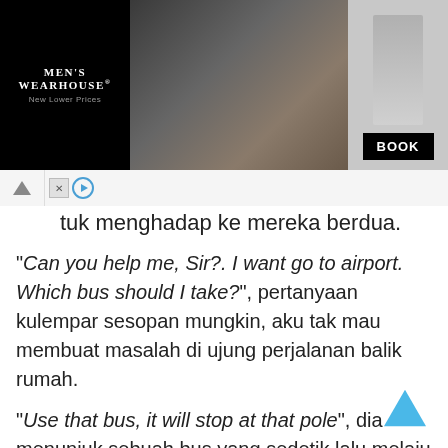[Figure (screenshot): Men's Wearhouse advertisement banner with couple in formal wear and a man in a grey suit, with BOOK button]
...tuk menghadap ke mereka berdua.
“Can you help me, Sir?. I want go to airport. Which bus should I take?”, pertanyaan kulempar sesopan mungkin, aku tak mau membuat masalah di ujung perjalanan balik rumah.
“Use that bus, it will stop at that pole”, dia menunjuk sebuah bus yang sedetik lalu melaju di depan kami bertiga. Kemudian menunjuk sebuah tiang di dekat 7-Eleven tempatku bersantap siang tadi.
“Thank you, Sir”, ucapku girang karena baru saja...